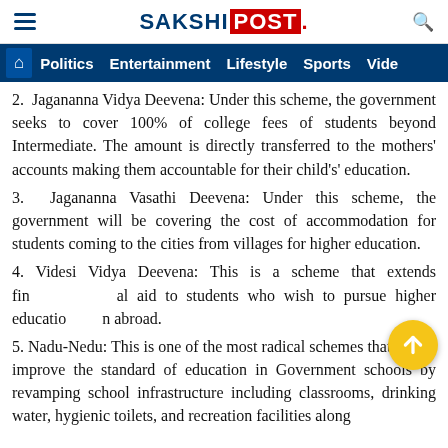SAKSHI POST
Politics  Entertainment  Lifestyle  Sports  Vide
2. Jagananna Vidya Deevena: Under this scheme, the government seeks to cover 100% of college fees of students beyond Intermediate. The amount is directly transferred to the mothers' accounts making them accountable for their child's' education.
3. Jagananna Vasathi Deevena: Under this scheme, the government will be covering the cost of accommodation for students coming to the cities from villages for higher education.
4. Videsi Vidya Deevena: This is a scheme that extends financial aid to students who wish to pursue higher education abroad.
5. Nadu-Nedu: This is one of the most radical schemes that aim to improve the standard of education in Government schools by revamping school infrastructure including classrooms, drinking water, hygienic toilets, and recreation facilities along